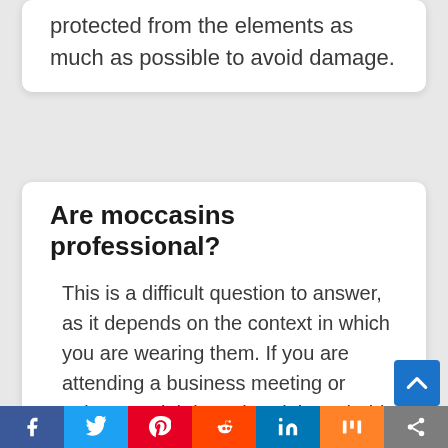protected from the elements as much as possible to avoid damage.
Are moccasins professional?
This is a difficult question to answer, as it depends on the context in which you are wearing them. If you are attending a business meeting or going on a job interview, it is probably best to err